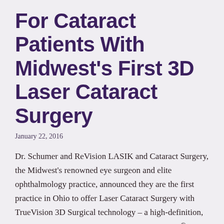For Cataract Patients With Midwest's First 3D Laser Cataract Surgery
January 22, 2016
Dr. Schumer and ReVision LASIK and Cataract Surgery, the Midwest's renowned eye surgeon and elite ophthalmology practice, announced they are the first practice in Ohio to offer Laser Cataract Surgery with TrueVision 3D Surgical technology – a high-definition, real-time, stereoscopic microsurgery. TrueVision® 3D Surgical is the world leader in 3D visualization and guidance for microsurgery,...